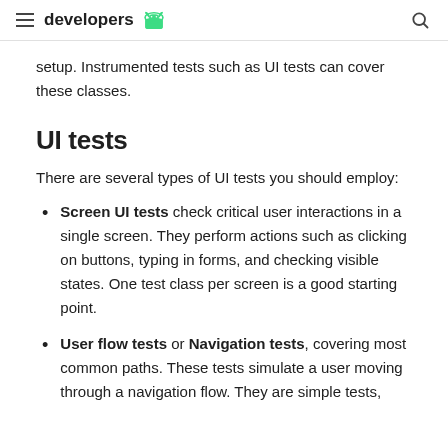developers
setup. Instrumented tests such as UI tests can cover these classes.
UI tests
There are several types of UI tests you should employ:
Screen UI tests check critical user interactions in a single screen. They perform actions such as clicking on buttons, typing in forms, and checking visible states. One test class per screen is a good starting point.
User flow tests or Navigation tests, covering most common paths. These tests simulate a user moving through a navigation flow. They are simple tests,